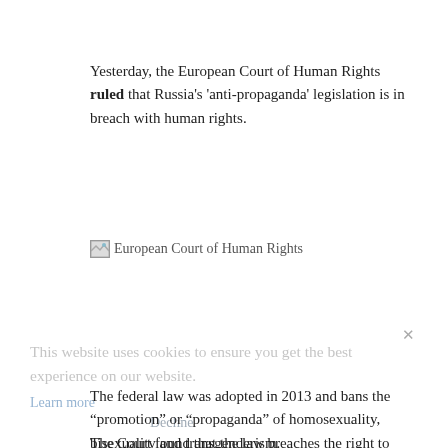Yesterday, the European Court of Human Rights ruled that Russia's 'anti-propaganda' legislation is in breach with human rights.
[Figure (photo): Broken/missing image placeholder labeled 'European Court of Human Rights']
This website uses cookies to ensure you get the best experience on our website.
Learn more
Decline
The federal law was adopted in 2013 and bans the “promotion” or “propaganda” of homosexuality, bisexuality and transgenderism.
The Court found that the law breaches the right to freedom of expression (Article 10) and the prohibition of discrimination (Article 14).